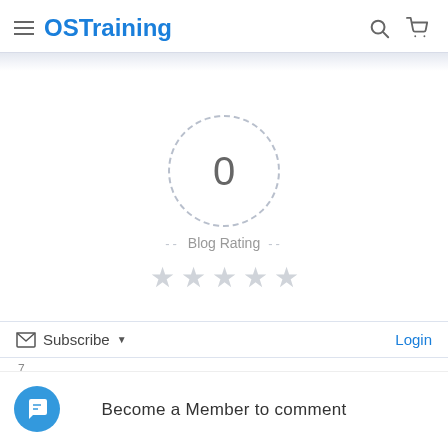OSTraining
[Figure (other): Blog rating widget showing 0 in a dashed circle with 5 empty stars and label 'Blog Rating']
Blog Rating
Subscribe ▾
Login
7
Become a Member to comment